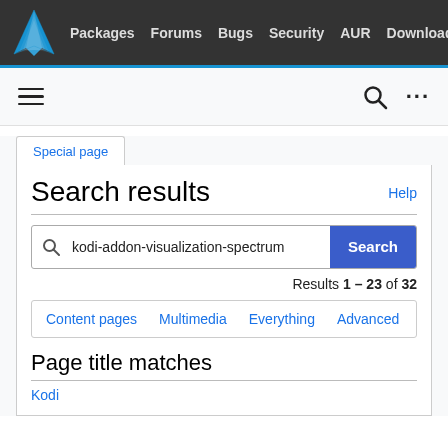Packages  Forums  Bugs  Security  AUR  Download
Search results
kodi-addon-visualization-spectrum
Results 1 – 23 of 32
Content pages  Multimedia  Everything  Advanced
Page title matches
Kodi
Special page